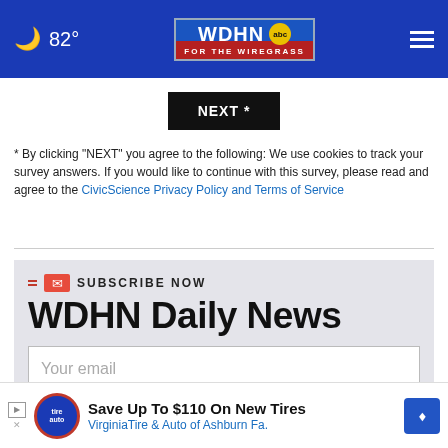[Figure (screenshot): WDHN ABC For The Wiregrass news website header with blue background, moon icon, 82° temperature, WDHN ABC logo, and hamburger menu]
[Figure (screenshot): NEXT * button in black]
* By clicking "NEXT" you agree to the following: We use cookies to track your survey answers. If you would like to continue with this survey, please read and agree to the CivicScience Privacy Policy and Terms of Service
SUBSCRIBE NOW
WDHN Daily News
Your email
SIGN UP NOW
[Figure (screenshot): Advertisement banner: Save Up To $110 On New Tires - VirginiaTire & Auto of Ashburn Fa.]